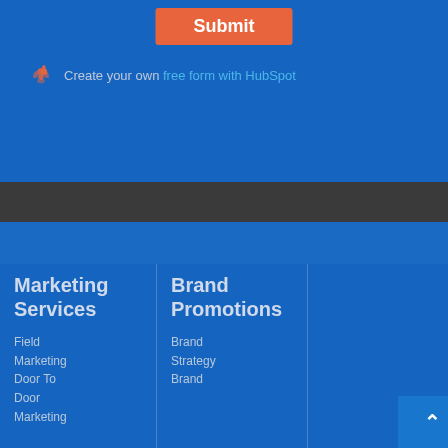Submit
Create your own free form with HubSpot
Marketing Services
Field Marketing
Door To Door Marketing
Brand Promotions
Brand Strategy
Brand